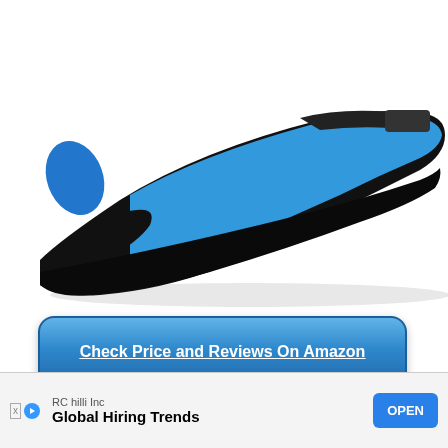[Figure (photo): Close-up photo of a black and blue rock climbing shoe (La Sportiva brand) shown from the side, against a white background. The shoe has a blue upper with black rubber sole and toe box, with a velcro strap closure.]
Check Price and Reviews On Amazon
Features
TYT Trusted Cotton Lini...
[Figure (screenshot): Advertisement banner: RC hilli Inc - Global Hiring Trends - OPEN button]